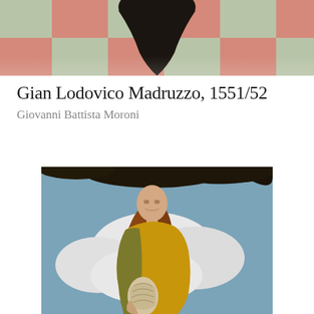[Figure (photo): Top portion of a painting showing a checkered floor pattern in pink, green, and gray tones with a dark silhouette of a figure at the top center]
Gian Lodovico Madruzzo, 1551/52
Giovanni Battista Moroni
[Figure (photo): Renaissance painting of a young woman with long auburn hair, wearing a yellow and green draped garment, holding a decorative shell or urn, set against a cloudy sky with dark tree foliage at top]